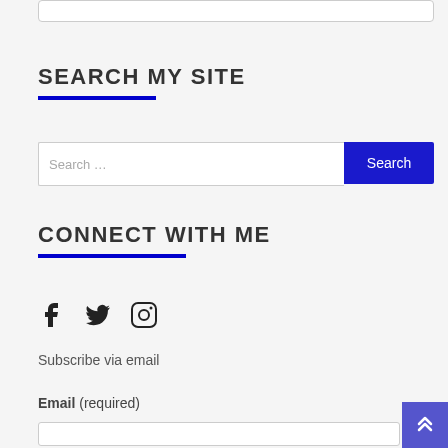SEARCH MY SITE
[Figure (screenshot): Search bar with text input field showing 'Search ...' placeholder and a blue 'Search' button]
CONNECT WITH ME
[Figure (infographic): Social media icons: Facebook, Twitter, Instagram]
Subscribe via email
Email (required)
[Figure (screenshot): Email input text field]
[Figure (other): Blue back-to-top button with double chevron arrow in bottom right corner]